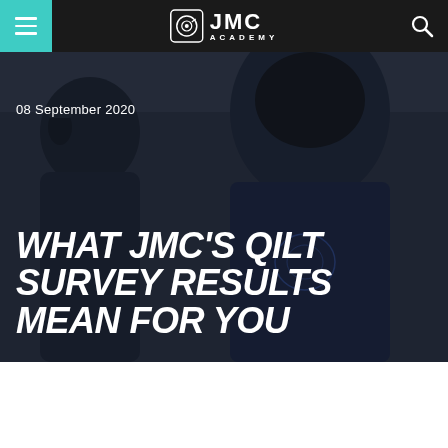JMC Academy
[Figure (photo): Two people wearing JMC Academy branded hoodies/sweatshirts in an outdoor urban setting, used as hero background image for a blog post]
08 September 2020
WHAT JMC'S QILT SURVEY RESULTS MEAN FOR YOU